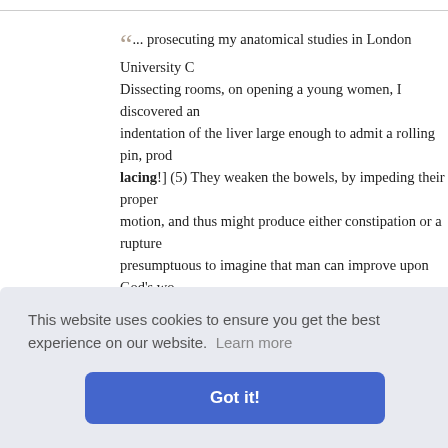“... prosecuting my anatomical studies in London University College Dissecting rooms, on opening a young women, I discovered an indentation of the liver large enough to admit a rolling pin, produced by lacing!] (5) They weaken the bowels, by impeding their proper motion, and thus might produce either constipation or a rupture presumptuous to imagine that man can improve upon God's work: if more support had been required, ... ”
— Advice to a Mother on the Management of her Children • Pye Henry Chavasse
▸ Read full book for free!
Cookie banner: This website uses cookies to ensure you get the best experience on our website. Learn more. Got it!
wears, if sh es the won odominal w ning must b ny way inte tion if any, Constipatio